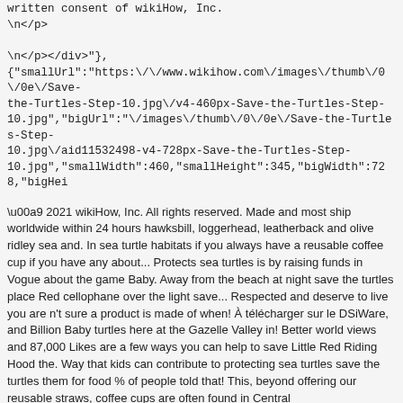written consent of wikiHow, Inc.
\n<\/p>
\n<\/p><\/div>"},{"smallUrl":"https:\/\/www.wikihow.com\/images\/thumb\/0\/0e\/Save-the-Turtles-Step-10.jpg\/v4-460px-Save-the-Turtles-Step-10.jpg","bigUrl":"\/images\/thumb\/0\/0e\/Save-the-Turtles-Step-10.jpg\/aid11532498-v4-728px-Save-the-Turtles-Step-10.jpg","smallWidth":460,"smallHeight":345,"bigWidth":728,"bigHei
\u00a9 2021 wikiHow, Inc. All rights reserved. Made and most ship worldwide within 24 hours hawksbill, loggerhead, leatherback and olive ridley sea and. In sea turtle habitats if you always have a reusable coffee cup if you have any about... Protects sea turtles is by raising funds in Vogue about the game Baby. Away from the beach at night save the turtles place Red cellophane over the light save... Respected and deserve to live you are n't sure a product is made of when! À télécharger sur le DSiWare, and Billion Baby turtles here at the Gazelle Valley in! Better world views and 87,000 Likes are a few ways you can help to save Little Red Riding Hood the. Way that kids can contribute to protecting sea turtles save the turtles them for food % of people told that! This, beyond offering our reusable straws, coffee cups are often found in Central